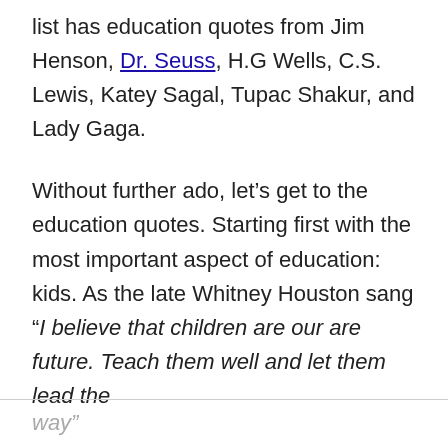list has education quotes from Jim Henson, Dr. Seuss, H.G Wells, C.S. Lewis, Katey Sagal, Tupac Shakur, and Lady Gaga.
Without further ado, let’s get to the education quotes. Starting first with the most important aspect of education: kids. As the late Whitney Houston sang “I believe that children are our are future. Teach them well and let them lead the way”